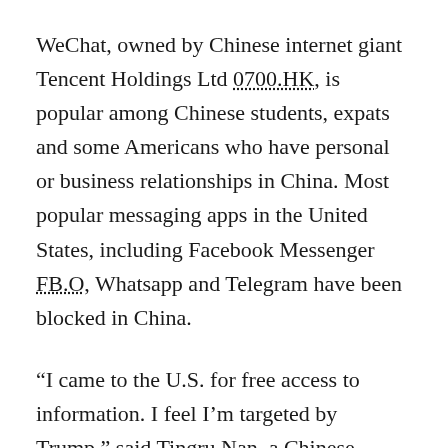WeChat, owned by Chinese internet giant Tencent Holdings Ltd 0700.HK, is popular among Chinese students, expats and some Americans who have personal or business relationships in China. Most popular messaging apps in the United States, including Facebook Messenger FB.O, Whatsapp and Telegram have been blocked in China.
“I came to the U.S. for free access to information. I feel I’m targeted by Trump,” said Tingru Nan, a Chinese graduate student at the University of Delaware. “I’m living in constant fear now thinking I might get disconnected with friends and families.”
The ban will cut off far more than the up to 6 million